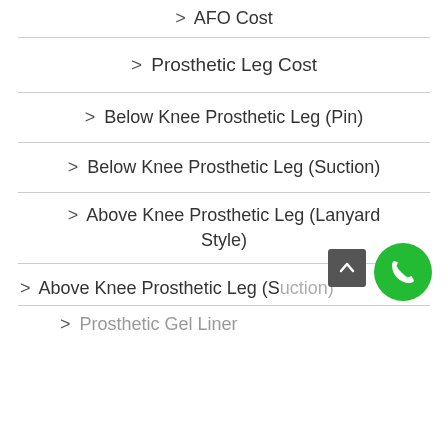> AFO Cost
> Prosthetic Leg Cost
> Below Knee Prosthetic Leg (Pin)
> Below Knee Prosthetic Leg (Suction)
> Above Knee Prosthetic Leg (Lanyard Style)
> Above Knee Prosthetic Leg (Suction)
> Prosthetic Gel Liner